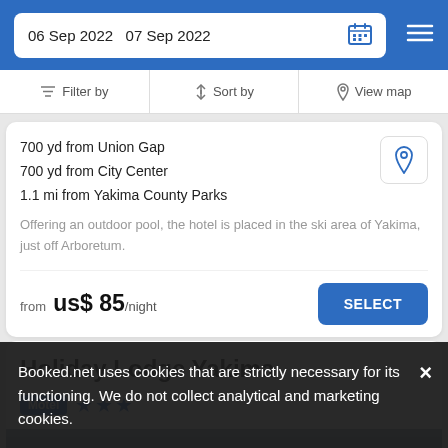06 Sep 2022   07 Sep 2022
Filter by   Sort by   View map
700 yd from Union Gap
700 yd from City Center
1.1 mi from Yakima County Parks
Offering an outdoor pool, the hotel is placed in the ski area of Yakima, just off Arboretum.
from  us$ 85/night
Holiday Lodge Yakima
Motel ★★★
Booked.net uses cookies that are strictly necessary for its functioning. We do not collect analytical and marketing cookies.